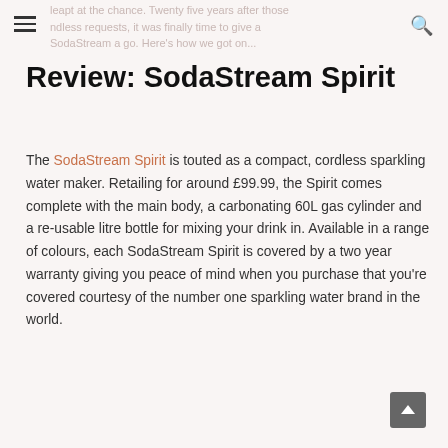leapt at the chance. Twenty five years after those endless requests, it was finally time to give a SodaStream a go. Here's how we got on...
Review: SodaStream Spirit
The SodaStream Spirit is touted as a compact, cordless sparkling water maker. Retailing for around £99.99, the Spirit comes complete with the main body, a carbonating 60L gas cylinder and a re-usable litre bottle for mixing your drink in. Available in a range of colours, each SodaStream Spirit is covered by a two year warranty giving you peace of mind when you purchase that you're covered courtesy of the number one sparkling water brand in the world.